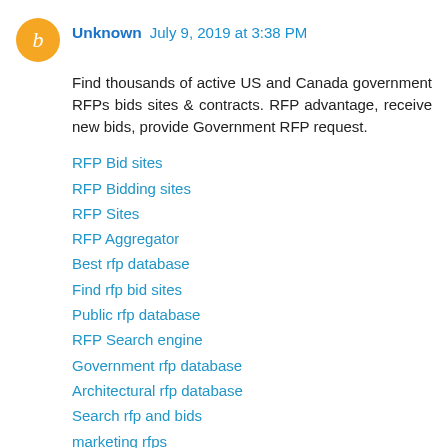Unknown July 9, 2019 at 3:38 PM
Find thousands of active US and Canada government RFPs bids sites & contracts. RFP advantage, receive new bids, provide Government RFP request.
RFP Bid sites
RFP Bidding sites
RFP Sites
RFP Aggregator
Best rfp database
Find rfp bid sites
Public rfp database
RFP Search engine
Government rfp database
Architectural rfp database
Search rfp and bids
marketing rfps
rfp database search
Find rfp bids
Best rfp sites
rfp bids